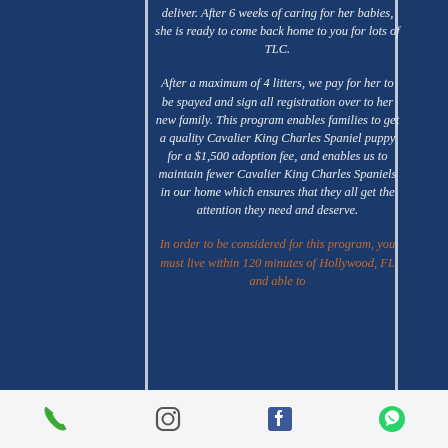deliver. After 6 weeks of caring for her babies, she is ready to come back home to you for lots of TLC.
After a maximum of 4 litters, we pay for her to be spayed and sign all registration over to her new family. This program enables families to get a quality Cavalier King Charles Spaniel puppy for a $1,500 adoption fee, and enables us to maintain fewer Cavalier King Charles Spaniels in our home which ensures that they all get the attention they need and deserve.
In order to be considered for this program, you must live within 120 minutes of Hollywood, FL and able to
[Figure (other): Footer bar with four social/contact icons: phone, Instagram, Facebook, WhatsApp]